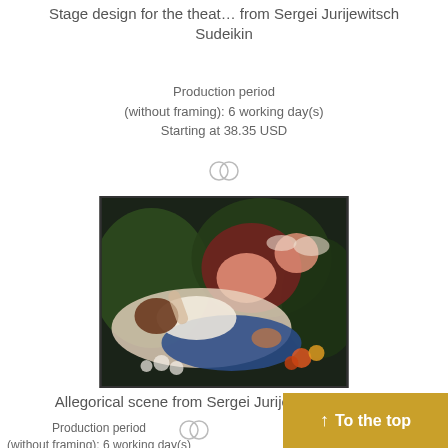Stage design for the theat… from Sergei Jurijewitsch Sudeikin
Production period
(without framing): 6 working day(s)
Starting at 38.35 USD
[Figure (photo): Allegorical painting depicting reclining female figure with cherubs and floral elements, by Sergei Jurijewitsch Sudeikin]
Allegorical scene from Sergei Jurijewitsch Sudeikin
Production period
(without framing): 6 working day(s)
Starting at 38.35 USD